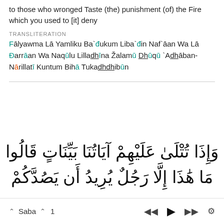to those who wronged Taste (the) punishment (of) the Fire which you used to [it] deny
TRANSLITERATION
Fālyawma Lā Yamliku Ba`đukum Liba`đin Naf`āan Wa Lā Ðarrāan Wa Naqūlu Lilladhīna Žalamū Dhūqū `Adhāban-Nārillatī Kuntum Bihā Tukadhdhibūn
[Figure (other): Arabic Quran verse text in large Arabic script: وَإِذَا تُتْلَىٰ عَلَيْهِمْ آيَاتُنَا بَيِّنَاتٍ قَالُوا and مَا هَٰذَا إِلَّا رَجُلٌ يُرِيدُ أَن يَصُدَّكُمْ]
^ Saba ^ 1  |< ▶ >| ⚙